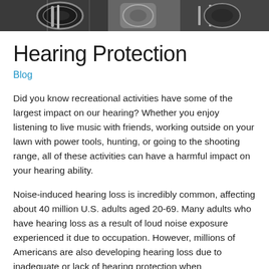[Figure (photo): Photograph of drums or musical instruments, partially visible at top of page]
Hearing Protection
Blog
Did you know recreational activities have some of the largest impact on our hearing? Whether you enjoy listening to live music with friends, working outside on your lawn with power tools, hunting, or going to the shooting range, all of these activities can have a harmful impact on your hearing ability.
Noise-induced hearing loss is incredibly common, affecting about 40 million U.S. adults aged 20-69. Many adults who have hearing loss as a result of loud noise exposure experienced it due to occupation. However, millions of Americans are also developing hearing loss due to inadequate or lack of hearing protection when